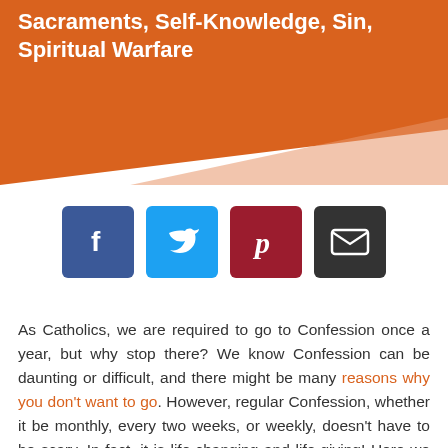Sacraments, Self-Knowledge, Sin, Spiritual Warfare
[Figure (infographic): Four social share buttons: Facebook (blue), Twitter (cyan), Pinterest (dark red), Email (dark grey)]
As Catholics, we are required to go to Confession once a year, but why stop there? We know Confession can be daunting or difficult, and there might be many reasons why you don't want to go. However, regular Confession, whether it be monthly, every two weeks, or weekly, doesn't have to be scary. In fact, it is life-changing and life-giving! Here we share 11